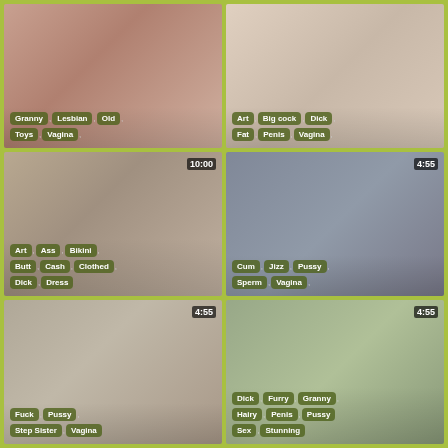[Figure (photo): Video thumbnail 1 with tags: Granny, Lesbian, Old, Toys, Vagina]
[Figure (photo): Video thumbnail 2 with tags: Art, Big cock, Dick, Fat, Penis, Vagina]
[Figure (photo): Video thumbnail 3 with duration 10:00 and tags: Art, Ass, Bikini, Butt, Cash, Clothed, Dick, Dress]
[Figure (photo): Video thumbnail 4 with duration 4:55 and tags: Cum, Jizz, Pussy, Sperm, Vagina]
[Figure (photo): Video thumbnail 5 with duration 4:55 and tags: Fuck, Pussy, Step Sister, Vagina]
[Figure (photo): Video thumbnail 6 with duration 4:55 and tags: Dick, Furry, Granny, Hairy, Penis, Pussy, Sex, Stunning]